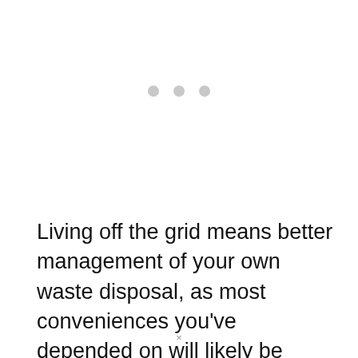[Figure (other): Three light gray dots arranged horizontally, centered on the page]
Living off the grid means better management of your own waste disposal, as most conveniences you've depended on will likely be unavailable now. A lot of waste can be accommodated very easily and can even help you out in other tasks.
×